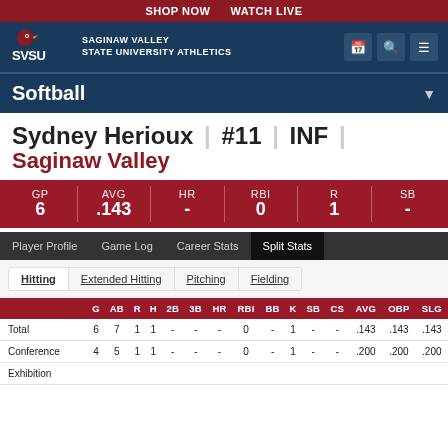SHOP NOW  WATCH LIVE
SAGINAW VALLEY STATE UNIVERSITY ATHLETICS
Softball
Sydney Herioux | #11 | INF | Saginaw Valley
| GP | AVG | HR | RBI | R | SB |
| --- | --- | --- | --- | --- | --- |
| 6 | .143 | - | 0 | 1 | - |
Player Profile  Game Log  Career Stats  Split Stats
Hitting  Extended Hitting  Pitching  Fielding
|  | G | AB | R | H | 2B | 3B | HR | RBI | BB | K | SB | CS | AVG | OBP | SLG |
| --- | --- | --- | --- | --- | --- | --- | --- | --- | --- | --- | --- | --- | --- | --- | --- |
| Total | 6 | 7 | 1 | 1 | - | - | - | 0 | - | 1 | - | - | .143 | .143 | .143 |
| Conference | 4 | 5 | 1 | 1 | - | - | - | 0 | - | 1 | - | - | .200 | .200 | .200 |
| Exhibition |  |  |  |  |  |  |  |  |  |  |  |  |  |  |  |